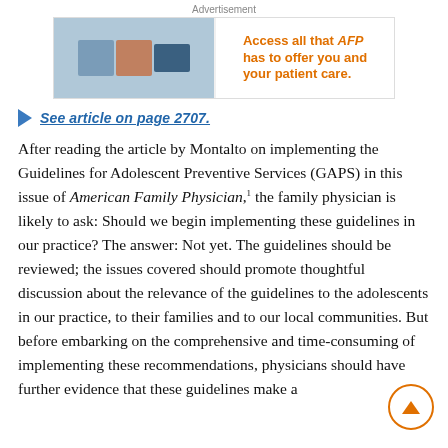[Figure (other): Advertisement banner for AFP (American Family Physician) showing 'Access all that AFP has to offer you and your patient care.']
See article on page 2707.
After reading the article by Montalto on implementing the Guidelines for Adolescent Preventive Services (GAPS) in this issue of American Family Physician,1 the family physician is likely to ask: Should we begin implementing these guidelines in our practice? The answer: Not yet. The guidelines should be reviewed; the issues covered should promote thoughtful discussion about the relevance of the guidelines to the adolescents in our practice, to their families and to our local communities. But before embarking on the comprehensive and time-consuming of implementing these recommendations, physicians should have further evidence that these guidelines make a